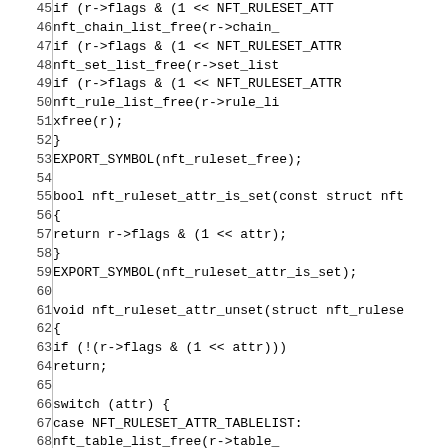[Figure (screenshot): Source code listing lines 45-75 of a C file implementing nft_ruleset functions, showing line numbers in a left column and code in the right column with monospace font.]